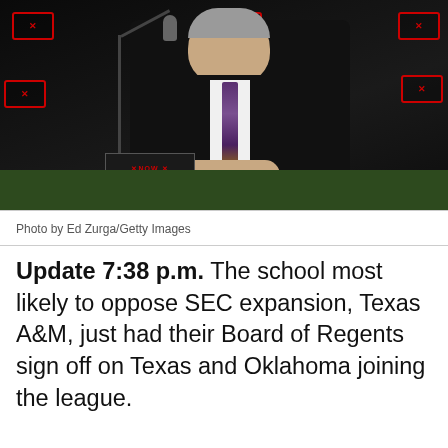[Figure (photo): Man in dark suit speaking at a press conference podium with microphone and Big 12 / ESPN NOW signage in background]
Photo by Ed Zurga/Getty Images
Update 7:38 p.m. The school most likely to oppose SEC expansion, Texas A&M, just had their Board of Regents sign off on Texas and Oklahoma joining the league.